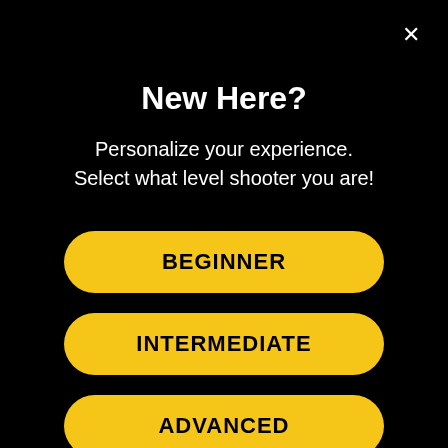×
New Here?
Personalize your experience. Select what level shooter you are!
BEGINNER
INTERMEDIATE
ADVANCED